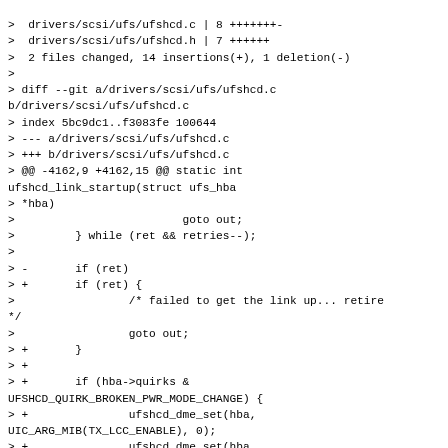>  drivers/scsi/ufs/ufshcd.c | 8 +++++++- 
>  drivers/scsi/ufs/ufshcd.h | 7 ++++++ 
>  2 files changed, 14 insertions(+), 1 deletion(-)
>
> diff --git a/drivers/scsi/ufs/ufshcd.c b/drivers/scsi/ufs/ufshcd.c
> index 5bc9dc1..f3083fe 100644
> --- a/drivers/scsi/ufs/ufshcd.c
> +++ b/drivers/scsi/ufs/ufshcd.c
> @@ -4162,9 +4162,15 @@ static int ufshcd_link_startup(struct ufs_hba
> *hba)
>                         goto out;
>         } while (ret && retries--);
>
> -       if (ret)
> +       if (ret) {
>                 /* failed to get the link up... retire */
>                 goto out;
> +       }
> +
> +       if (hba->quirks & UFSHCD_QUIRK_BROKEN_PWR_MODE_CHANGE) {
> +               ufshcd_dme_set(hba, UIC_ARG_MIB(TX_LCC_ENABLE), 0);
> +               ufshcd_dme_set(hba, UIC_ARG_MIB(TX_LCC_ENABLE), 1);
> +       }
>
> ...if (link_startup_retries) {